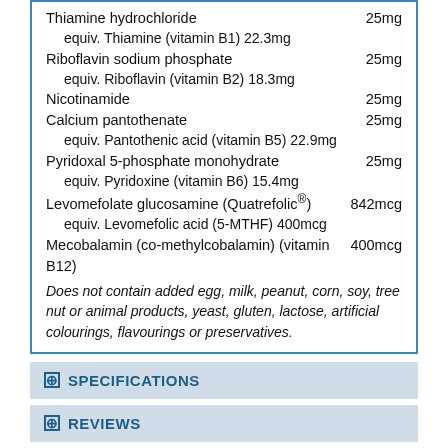Thiamine hydrochloride 25mg
  equiv. Thiamine (vitamin B1) 22.3mg
Riboflavin sodium phosphate 25mg
  equiv. Riboflavin (vitamin B2) 18.3mg
Nicotinamide 25mg
Calcium pantothenate 25mg
  equiv. Pantothenic acid (vitamin B5) 22.9mg
Pyridoxal 5-phosphate monohydrate 25mg
  equiv. Pyridoxine (vitamin B6) 15.4mg
Levomefolate glucosamine (Quatrefolic®) 842mcg
  equiv. Levomefolic acid (5-MTHF) 400mcg
Mecobalamin (co-methylcobalamin) (vitamin B12) 400mcg
Does not contain added egg, milk, peanut, corn, soy, tree nut or animal products, yeast, gluten, lactose, artificial colourings, flavourings or preservatives.
SPECIFICATIONS
REVIEWS
OTHERS ALSO BOUGHT